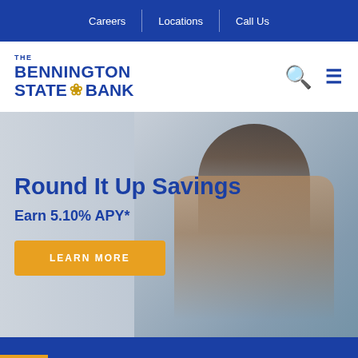Careers | Locations | Call Us
[Figure (logo): The Bennington State Bank logo with wheat symbol in blue and gold]
Round It Up Savings
Earn 5.10% APY*
LEARN MORE